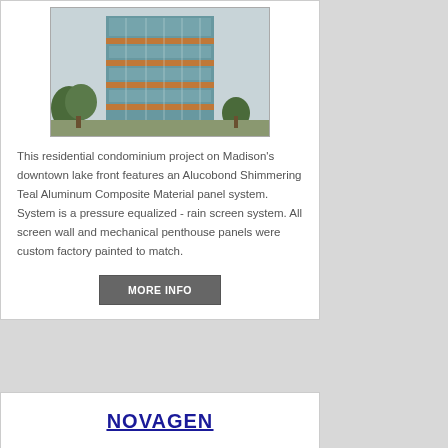[Figure (photo): Photograph of a residential condominium high-rise building with teal aluminum composite material panels and orange/terracotta accent bands, set against a lightly overcast sky with trees visible at the base.]
This residential condominium project on Madison's downtown lake front features an Alucobond Shimmering Teal Aluminum Composite Material panel system. System is a pressure equalized - rain screen system. All screen wall and mechanical penthouse panels were custom factory painted to match.
MORE INFO
NOVAGEN